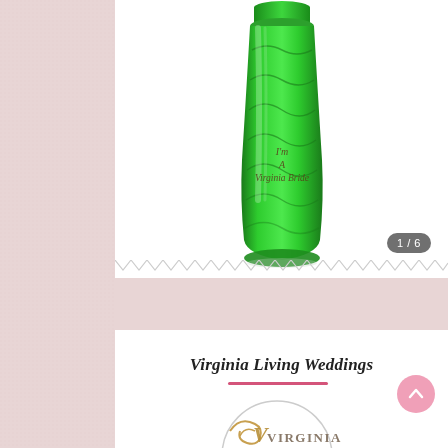[Figure (photo): Green acrylic tumbler/drinkware with wavy texture and text engraving reading 'I'm A Virginia Bride', shown against white background. Image counter badge shows 1/6.]
Virginia Living Weddings
[Figure (logo): Virginia Living Weddings circular logo, partially visible, with decorative script lettering and ornamental design in gold/tan colors on light background.]